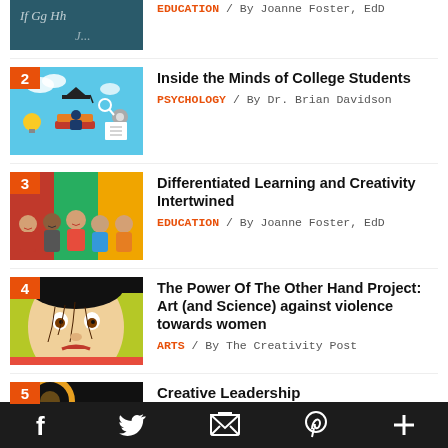[Figure (photo): Partial view of a chalkboard with handwriting (item 1 thumbnail)]
EDUCATION / By Joanne Foster, EdD
[Figure (illustration): Blue background illustration of a student with graduation cap reading books, with clouds and learning icons]
Inside the Minds of College Students
PSYCHOLOGY / By Dr. Brian Davidson
[Figure (photo): Group of young diverse children sitting and smiling in a colorful classroom]
Differentiated Learning and Creativity Intertwined
EDUCATION / By Joanne Foster, EdD
[Figure (photo): Stylized painting of a face with dramatic expression on green/yellow background]
The Power Of The Other Hand Project: Art (and Science) against violence towards women
ARTS / By The Creativity Post
[Figure (photo): Partial thumbnail for item 5 Creative Leadership]
Creative Leadership